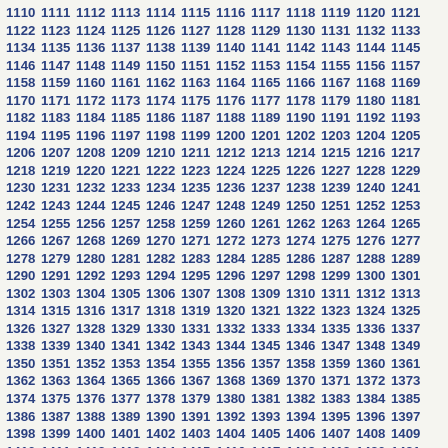1110 1111 1112 1113 1114 1115 1116 1117 1118 1119 1120 1121 1122 1123 1124 1125 1126 1127 1128 1129 1130 1131 1132 1133 1134 1135 1136 1137 1138 1139 1140 1141 1142 1143 1144 1145 1146 1147 1148 1149 1150 1151 1152 1153 1154 1155 1156 1157 1158 1159 1160 1161 1162 1163 1164 1165 1166 1167 1168 1169 1170 1171 1172 1173 1174 1175 1176 1177 1178 1179 1180 1181 1182 1183 1184 1185 1186 1187 1188 1189 1190 1191 1192 1193 1194 1195 1196 1197 1198 1199 1200 1201 1202 1203 1204 1205 1206 1207 1208 1209 1210 1211 1212 1213 1214 1215 1216 1217 1218 1219 1220 1221 1222 1223 1224 1225 1226 1227 1228 1229 1230 1231 1232 1233 1234 1235 1236 1237 1238 1239 1240 1241 1242 1243 1244 1245 1246 1247 1248 1249 1250 1251 1252 1253 1254 1255 1256 1257 1258 1259 1260 1261 1262 1263 1264 1265 1266 1267 1268 1269 1270 1271 1272 1273 1274 1275 1276 1277 1278 1279 1280 1281 1282 1283 1284 1285 1286 1287 1288 1289 1290 1291 1292 1293 1294 1295 1296 1297 1298 1299 1300 1301 1302 1303 1304 1305 1306 1307 1308 1309 1310 1311 1312 1313 1314 1315 1316 1317 1318 1319 1320 1321 1322 1323 1324 1325 1326 1327 1328 1329 1330 1331 1332 1333 1334 1335 1336 1337 1338 1339 1340 1341 1342 1343 1344 1345 1346 1347 1348 1349 1350 1351 1352 1353 1354 1355 1356 1357 1358 1359 1360 1361 1362 1363 1364 1365 1366 1367 1368 1369 1370 1371 1372 1373 1374 1375 1376 1377 1378 1379 1380 1381 1382 1383 1384 1385 1386 1387 1388 1389 1390 1391 1392 1393 1394 1395 1396 1397 1398 1399 1400 1401 1402 1403 1404 1405 1406 1407 1408 1409 1410 1411 1412 1413 1414 1415 1416 1417 1418 1419 1420 1421 1422 1423 1424 1425 1426 1427 1428 1429 1430 1431 1432 1433 1434 1435 1436 1437 1438 1439 1440 1441 1442 1443 1444 1445 1446 1447 1448 1449 1450 1451 1452 1453 1454 1455 1456 1457 1458 1459 1460 1461 1462 1463 1464 1465 1466 1467 1468 1469 1470 1471 1472 1473